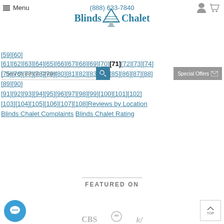Menu | (888) 633-7840 | [user icon] [cart icon]
[Figure (logo): Blinds Chalet logo with house/chimney icon]
[Figure (screenshot): Search bar with 'Search Blinds Chalet' placeholder and teal search button; Special Offers button with envelope icon]
[59][60]
[61][62][63][64][65][66][67][68][69][70][71][72][73][74]
[75][76][77][78][79][80][81][82][83][84][85][86][87][88]
[89][90]
[91][92][93][94][95][96][97][98][99][100][101][102]
[103][104][105][106][107][108]Reviews by Location
Blinds Chalet Complaints Blinds Chalet Rating
FEATURED ON
[Figure (screenshot): Chat bubble icon (teal circle with speech bubble)]
[Figure (screenshot): TOP button (back to top)]
[Figure (logo): Partner/media logos at bottom (CBS, NBC, etc.)]